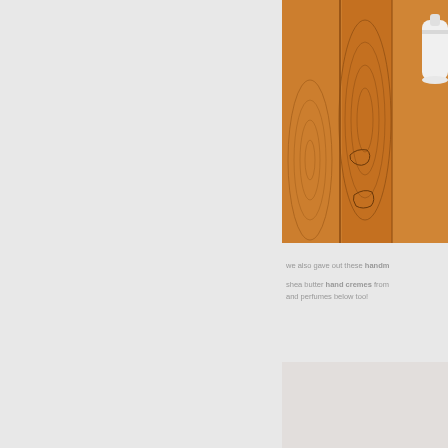[Figure (photo): Close-up photo of wooden surface with grain rings and a white round object partially visible on the right edge, warm orange-brown tones]
we also gave out these handm shea butter hand cremes from and perfumes below too!
[Figure (photo): Partially visible second photo with light beige/cream tones, content not fully visible]